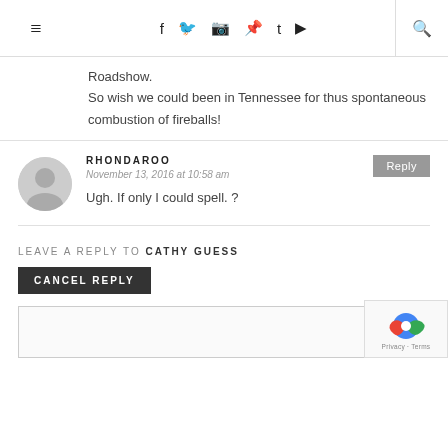≡  f  t  camera  pinterest  t  youtube  Q
Roadshow.
So wish we could been in Tennessee for thus spontaneous combustion of fireballs!
RHONDAROO
November 13, 2016 at 10:58 am
Ugh. If only I could spell. ?
LEAVE A REPLY TO CATHY GUESS
CANCEL REPLY